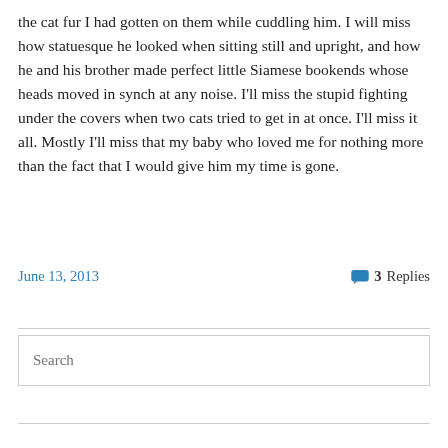the cat fur I had gotten on them while cuddling him. I will miss how statuesque he looked when sitting still and upright, and how he and his brother made perfect little Siamese bookends whose heads moved in synch at any noise. I'll miss the stupid fighting under the covers when two cats tried to get in at once. I'll miss it all. Mostly I'll miss that my baby who loved me for nothing more than the fact that I would give him my time is gone.
June 13, 2013
3 Replies
Search